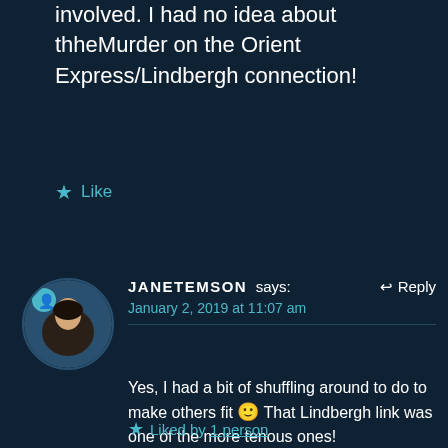involved. I had no idea about thheMurder on the Orient Express/Lindbergh connection!
★ Like
JANETEMSON says:
January 2, 2019 at 11:07 am
↩ Reply
Yes, I had a bit of shuffling around to do to make others fit 🙂 That Lindbergh link was one of the more tenous ones!
★ Liked by 1 person